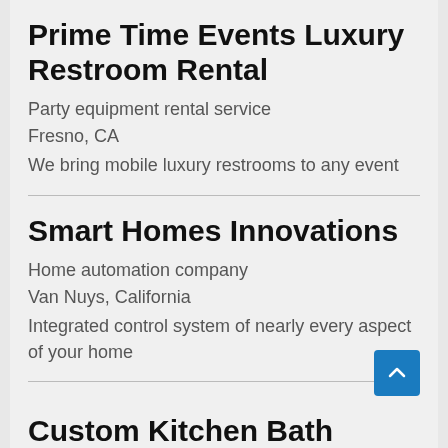Prime Time Events Luxury Restroom Rental
Party equipment rental service
Fresno, CA
We bring mobile luxury restrooms to any event
Smart Homes Innovations
Home automation company
Van Nuys, California
Integrated control system of nearly every aspect of your home
Custom Kitchen Bath